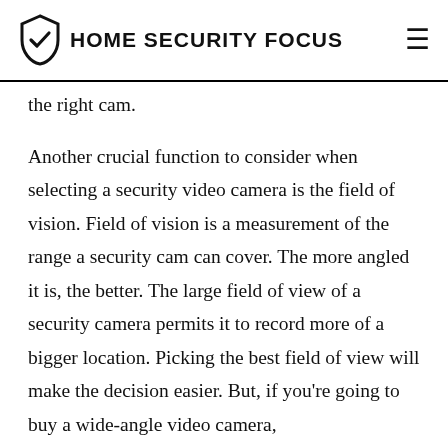HOME SECURITY FOCUS
the right cam.
Another crucial function to consider when selecting a security video camera is the field of vision. Field of vision is a measurement of the range a security cam can cover. The more angled it is, the better. The large field of view of a security camera permits it to record more of a bigger location. Picking the best field of view will make the decision easier. But, if you're going to buy a wide-angle video camera,